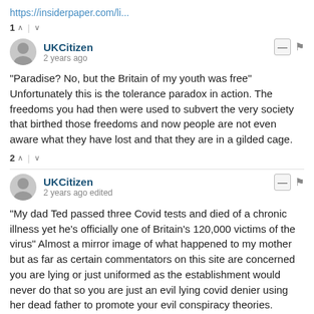https://insiderpaper.com/li...
1 ^ | v
UKCitizen
2 years ago
"Paradise? No, but the Britain of my youth was free" Unfortunately this is the tolerance paradox in action. The freedoms you had then were used to subvert the very society that birthed those freedoms and now people are not even aware what they have lost and that they are in a gilded cage.
2 ^ | v
UKCitizen
2 years ago edited
"My dad Ted passed three Covid tests and died of a chronic illness yet he’s officially one of Britain’s 120,000 victims of the virus" Almost a mirror image of what happened to my mother but as far as certain commentators on this site are concerned you are lying or just uniformed as the establishment would never do that so you are just an evil lying covid denier using her dead father to promote your evil conspiracy theories.